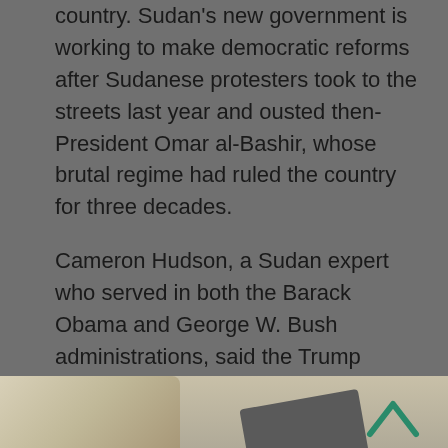country. Sudan's new government is working to make democratic reforms after Sudanese protesters took to the streets last year and ousted then-President Omar al-Bashir, whose brutal regime had ruled the country for three decades.
Cameron Hudson, a Sudan expert who served in both the Barack Obama and George W. Bush administrations, said the Trump administration was trying to get “something for nothing” by pressuring Sudan to normalize ties with Israel.
The State Department had already made a commitment to take Sudan off the terrorism list, and Pompeo made a “last minute bid” to squeeze more from Sudan, he said.
[Figure (photo): Partial view of an image at the bottom of the page, appears to show some objects, partially cut off]